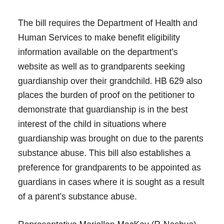The bill requires the Department of Health and Human Services to make benefit eligibility information available on the department's website as well as to grandparents seeking guardianship over their grandchild. HB 629 also places the burden of proof on the petitioner to demonstrate that guardianship is in the best interest of the child in situations where guardianship was brought on due to the parents substance abuse. This bill also establishes a preference for grandparents to be appointed as guardians in cases where it is sought as a result of a parent's substance abuse.
Representative Mariellen MacKay (R-Nashua) issued the following statement:
“I am pleased that the House today overwhelming approved HB 629. With this legislation New Hampshire is